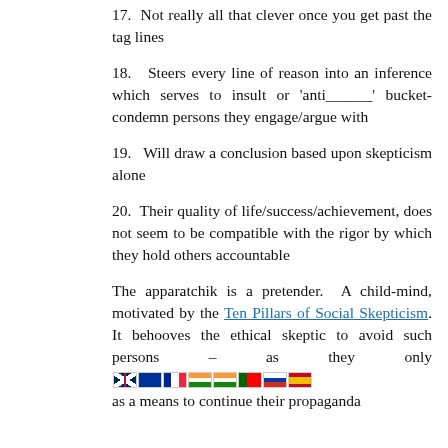17.  Not really all that clever once you get past the tag lines
18.  Steers every line of reason into an inference which serves to insult or 'anti______' bucket-condemn persons they engage/argue with
19.  Will draw a conclusion based upon skepticism alone
20.  Their quality of life/success/achievement, does not seem to be compatible with the rigor by which they hold others accountable
The apparatchik is a pretender.  A child-mind, motivated by the Ten Pillars of Social Skepticism. It behooves the ethical skeptic to avoid such persons – as they only see [flags] as a means to continue their propaganda